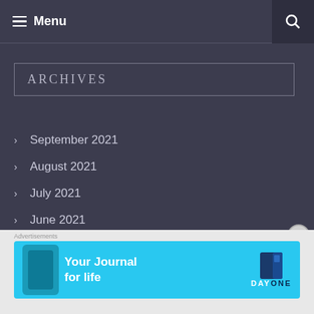Menu
ARCHIVES
September 2021
August 2021
July 2021
June 2021
March 2021
[Figure (screenshot): Advertisement banner for Day One journal app with cyan background, phone mockup, and text 'Your Journal for life']
Advertisements